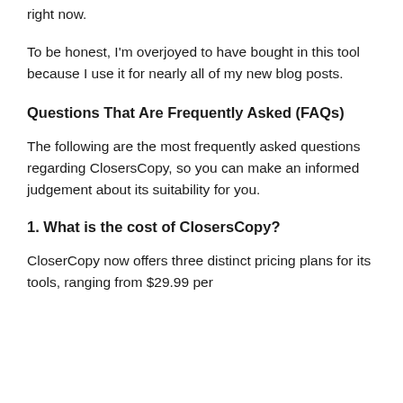right now.
To be honest, I'm overjoyed to have bought in this tool because I use it for nearly all of my new blog posts.
Questions That Are Frequently Asked (FAQs)
The following are the most frequently asked questions regarding ClosersCopy, so you can make an informed judgement about its suitability for you.
1. What is the cost of ClosersCopy?
CloserCopy now offers three distinct pricing plans for its tools, ranging from $29.99 per